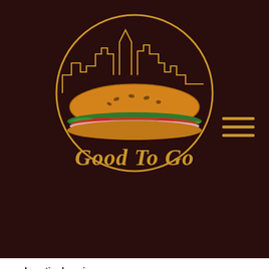[Figure (logo): Good To Go food truck logo: circular gold outline with city skyline, a large sub/hoagie sandwich illustration in the center, and cursive 'Good To Go' text below in gold, on a dark brown background]
acclamationbrewing
Groton Fries!!
@goodtogofoodtruck is her slinging gyros and fries, or gyro fries!!
Foggy Mind NEIPA is available in cans and on draft after yinz kick 88mph Haze.
6 beers and 2 seltzers (black 🍇 and 🍋🍋🍋-ade) on tap!!
🐕 and 🐟 friendly beer garden is open and ready for you on this lovely day!!